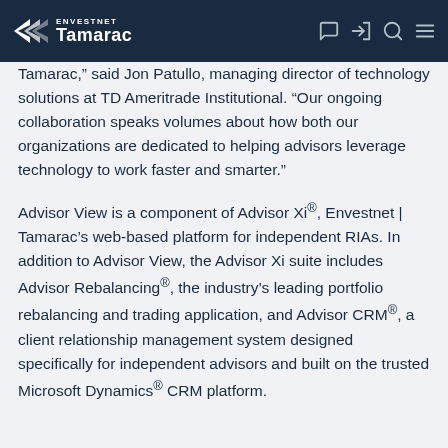Envestnet | Tamarac navigation bar
Tamarac,” said Jon Patullo, managing director of technology solutions at TD Ameritrade Institutional. “Our ongoing collaboration speaks volumes about how both our organizations are dedicated to helping advisors leverage technology to work faster and smarter.”
Advisor View is a component of Advisor Xi®, Envestnet | Tamarac’s web-based platform for independent RIAs. In addition to Advisor View, the Advisor Xi suite includes Advisor Rebalancing®, the industry’s leading portfolio rebalancing and trading application, and Advisor CRM®, a client relationship management system designed specifically for independent advisors and built on the trusted Microsoft Dynamics® CRM platform.